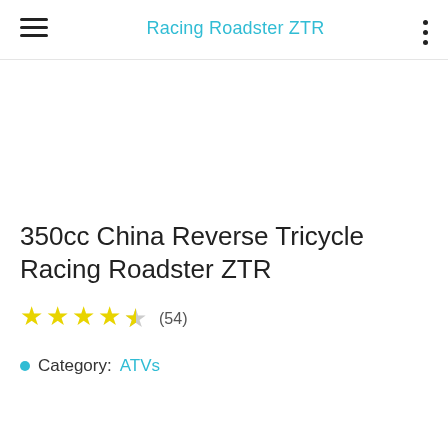Racing Roadster ZTR
350cc China Reverse Tricycle Racing Roadster ZTR
★★★★☆ (54)
Category: ATVs